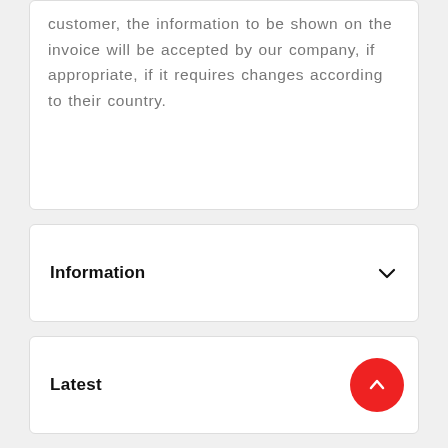customer, the information to be shown on the invoice will be accepted by our company, if appropriate, if it requires changes according to their country.
Information
Latest